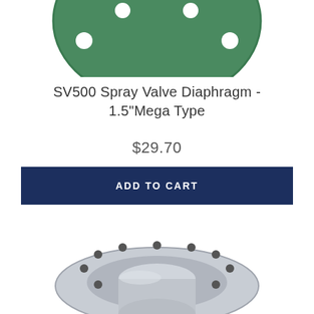[Figure (photo): Green circular spray valve diaphragm with bolt holes, partially cropped at top of page]
SV500 Spray Valve Diaphragm - 1.5"Mega Type
$29.70
ADD TO CART
[Figure (photo): Silver/aluminum circular valve body component with bolt holes around flange rim, partially shown at bottom of page]